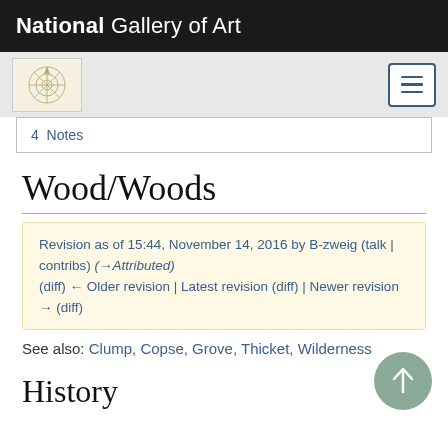National Gallery of Art
4  Notes
Wood/Woods
Revision as of 15:44, November 14, 2016 by B-zweig (talk | contribs) (→Attributed)
(diff) ← Older revision | Latest revision (diff) | Newer revision → (diff)
See also: Clump, Copse, Grove, Thicket, Wilderness
History